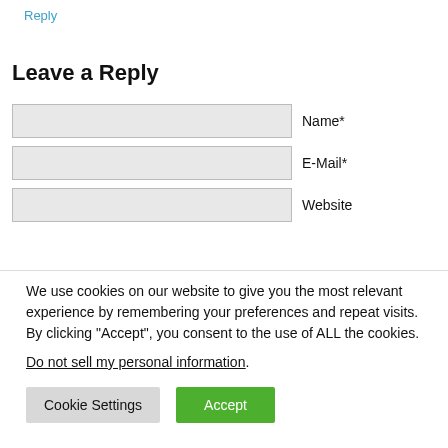Reply
Leave a Reply
Name*
E-Mail*
Website
We use cookies on our website to give you the most relevant experience by remembering your preferences and repeat visits. By clicking “Accept”, you consent to the use of ALL the cookies.
Do not sell my personal information.
Cookie Settings
Accept